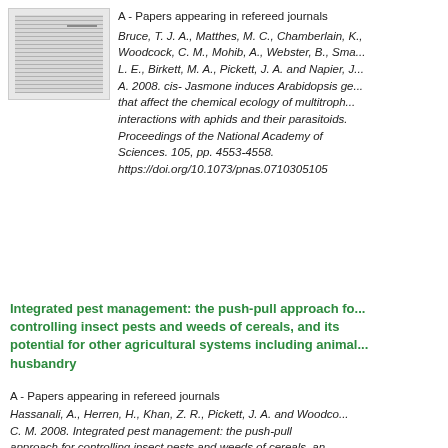[Figure (other): Thumbnail image of a document page showing text columns]
A - Papers appearing in refereed journals
Bruce, T. J. A., Matthes, M. C., Chamberlain, K., Woodcock, C. M., Mohib, A., Webster, B., Smart, L. E., Birkett, M. A., Pickett, J. A. and Napier, J. A. 2008. cis- Jasmone induces Arabidopsis genes that affect the chemical ecology of multitrophic interactions with aphids and their parasitoids. Proceedings of the National Academy of Sciences. 105, pp. 4553-4558. https://doi.org/10.1073/pnas.0710305105
Integrated pest management: the push-pull approach for controlling insect pests and weeds of cereals, and its potential for other agricultural systems including animal husbandry
A - Papers appearing in refereed journals
Hassanali, A., Herren, H., Khan, Z. R., Pickett, J. A. and Woodcock, C. M. 2008. Integrated pest management: the push-pull approach for controlling insect pests and weeds of cereals, and its potential for other agricultural systems including animal...